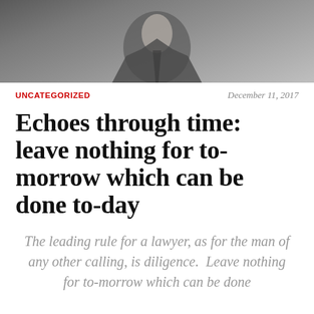[Figure (photo): Black and white photograph of a person, visible from approximately the chest up, wearing a suit jacket. The image is cropped at the top of the page.]
UNCATEGORIZED
December 11, 2017
Echoes through time: leave nothing for to-morrow which can be done to-day
The leading rule for a lawyer, as for the man of any other calling, is diligence.  Leave nothing for to-morrow which can be done